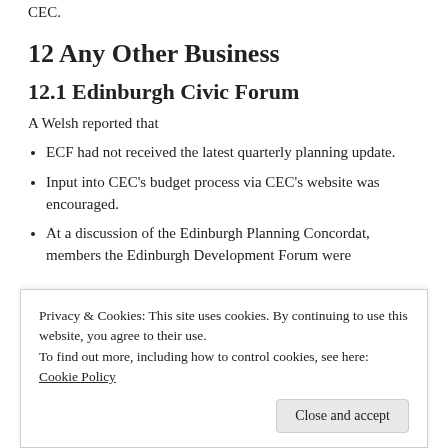CEC.
12 Any Other Business
12.1 Edinburgh Civic Forum
A Welsh reported that
ECF had not received the latest quarterly planning update.
Input into CEC's budget process via CEC's website was encouraged.
At a discussion of the Edinburgh Planning Concordat, members the Edinburgh Development Forum were
Privacy & Cookies: This site uses cookies. By continuing to use this website, you agree to their use.
To find out more, including how to control cookies, see here: Cookie Policy